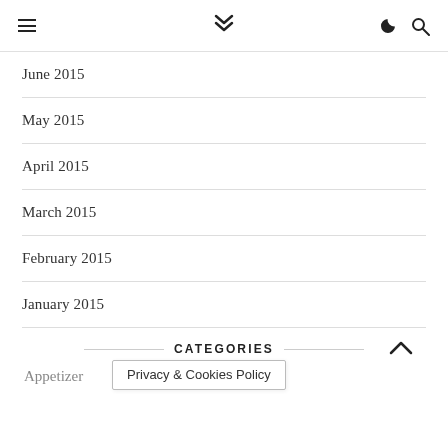≡ ❯❯ ☽ 🔍
June 2015
May 2015
April 2015
March 2015
February 2015
January 2015
CATEGORIES
Appetizer
Privacy & Cookies Policy